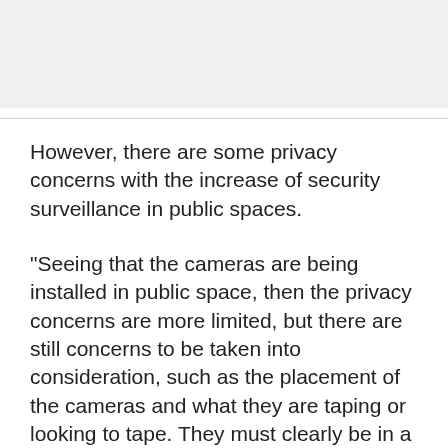[Figure (photo): Gray placeholder image box at top of page]
However, there are some privacy concerns with the increase of security surveillance in public spaces.
"Seeing that the cameras are being installed in public space, then the privacy concerns are more limited, but there are still concerns to be taken into consideration, such as the placement of the cameras and what they are taping or looking to tape. They must clearly be in a public space and must not overlap into any private domain," said Susan Goffe, human-rights advocate.